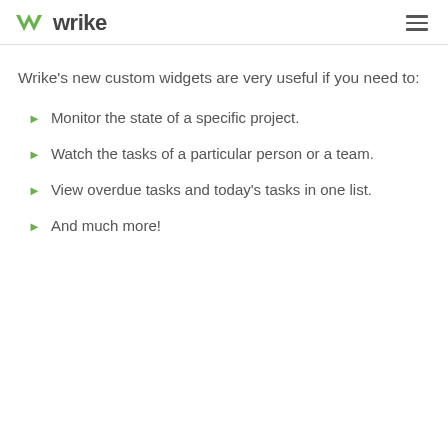wrike
Wrike's new custom widgets are very useful if you need to:
Monitor the state of a specific project.
Watch the tasks of a particular person or a team.
View overdue tasks and today's tasks in one list.
And much more!